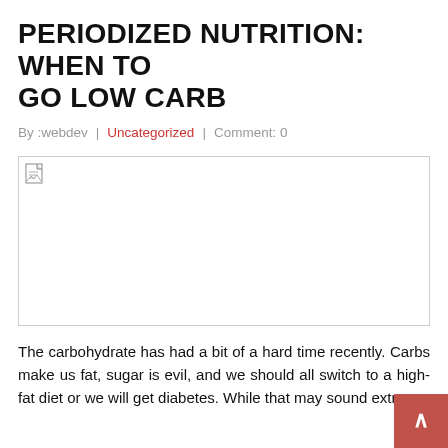PERIODIZED NUTRITION: WHEN TO GO LOW CARB
By :webdev  |  Uncategorized  |  Comment: 0
[Figure (photo): Broken/missing image placeholder with a small document icon in top-left corner]
The carbohydrate has had a bit of a hard time recently. Carbs make us fat, sugar is evil, and we should all switch to a high-fat diet or we will get diabetes. While that may sound extreme